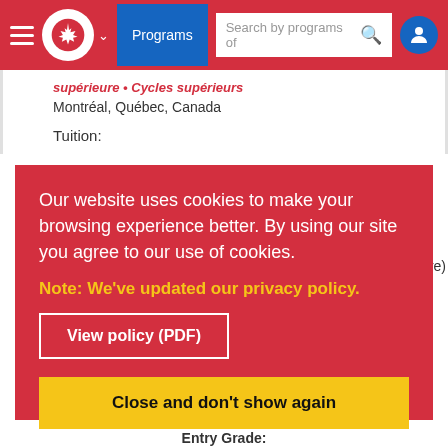Programs | Search by programs of
supérieure • Cycles supérieurs
Montréal, Québec, Canada
Tuition:
Our website uses cookies to make your browsing experience better. By using our site you agree to our use of cookies.
Note: We've updated our privacy policy.
View policy (PDF)
Close and don't show again
Entry Grade: